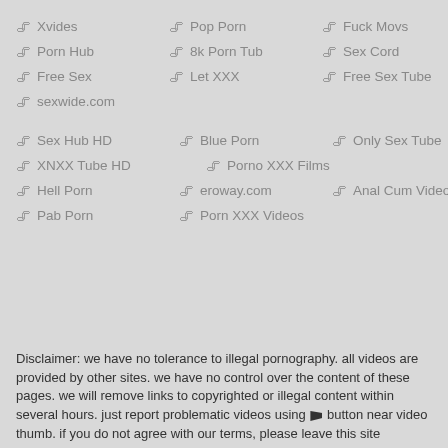Xvides
Pop Porn
Fuck Movs
Porn Hub
8k Porn Tub
Sex Cord
Free Sex
Let XXX
Free Sex Tube
sexwide.com
Sex Hub HD
Blue Porn
Only Sex Tube
XNXX Tube HD
Porno XXX Films
Hell Porn
eroway.com
Anal Cum Videos
Pab Porn
Porn XXX Videos
Disclaimer: we have no tolerance to illegal pornography. all videos are provided by other sites. we have no control over the content of these pages. we will remove links to copyrighted or illegal content within several hours. just report problematic videos using [flag] button near video thumb. if you do not agree with our terms, please leave this site